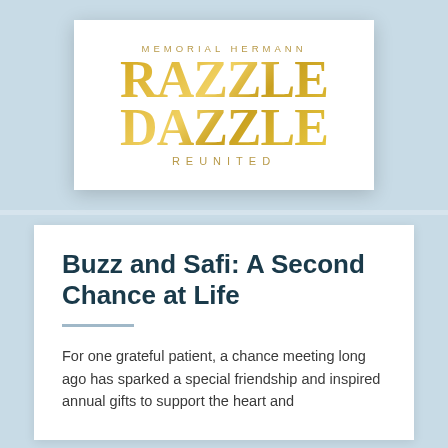[Figure (logo): Memorial Hermann Razzle Dazzle Reunited event logo in gold on white card background]
Buzz and Safi: A Second Chance at Life
For one grateful patient, a chance meeting long ago has sparked a special friendship and inspired annual gifts to support the heart and